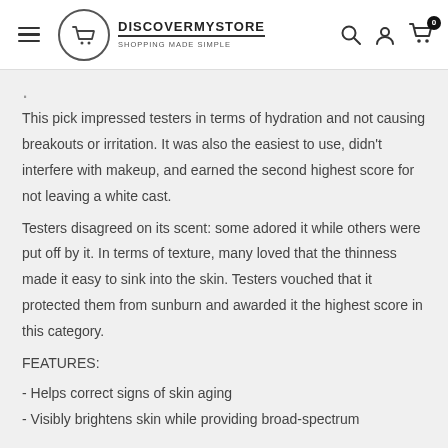DISCOVERMYSTORE — SHOPPING MADE SIMPLE
This pick impressed testers in terms of hydration and not causing breakouts or irritation. It was also the easiest to use, didn't interfere with makeup, and earned the second highest score for not leaving a white cast.
Testers disagreed on its scent: some adored it while others were put off by it. In terms of texture, many loved that the thinness made it easy to sink into the skin. Testers vouched that it protected them from sunburn and awarded it the highest score in this category.
FEATURES:
- Helps correct signs of skin aging
- Visibly brightens skin while providing broad-spectrum